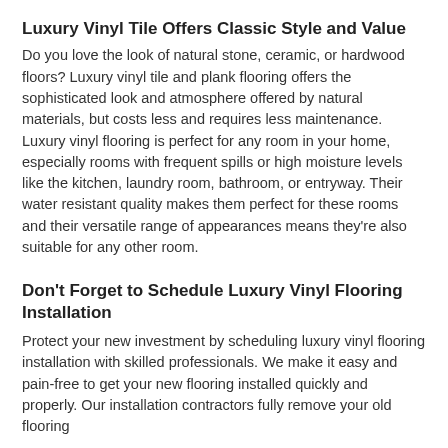Luxury Vinyl Tile Offers Classic Style and Value
Do you love the look of natural stone, ceramic, or hardwood floors? Luxury vinyl tile and plank flooring offers the sophisticated look and atmosphere offered by natural materials, but costs less and requires less maintenance. Luxury vinyl flooring is perfect for any room in your home, especially rooms with frequent spills or high moisture levels like the kitchen, laundry room, bathroom, or entryway. Their water resistant quality makes them perfect for these rooms and their versatile range of appearances means they're also suitable for any other room.
Don't Forget to Schedule Luxury Vinyl Flooring Installation
Protect your new investment by scheduling luxury vinyl flooring installation with skilled professionals. We make it easy and pain-free to get your new flooring installed quickly and properly. Our installation contractors fully remove your old flooring